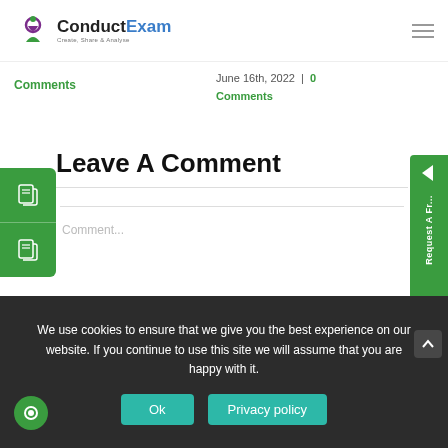[Figure (logo): ConductExam logo with tagline 'Create, share & Analyse']
Comments
June 16th, 2022  |  0 Comments
Leave A Comment
Comment...
We use cookies to ensure that we give you the best experience on our website. If you continue to use this site we will assume that you are happy with it.
Ok
Privacy policy